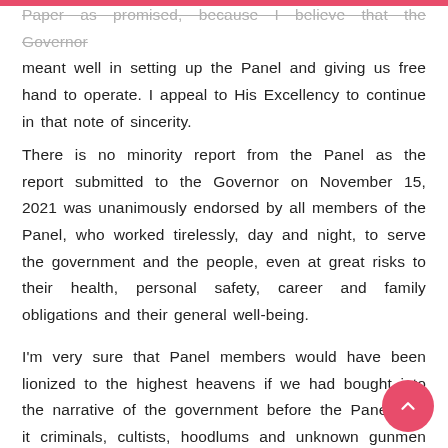Paper as promised, because I believe that the Governor meant well in setting up the Panel and giving us free hand to operate. I appeal to His Excellency to continue in that note of sincerity.
There is no minority report from the Panel as the report submitted to the Governor on November 15, 2021 was unanimously endorsed by all members of the Panel, who worked tirelessly, day and night, to serve the government and the people, even at great risks to their health, personal safety, career and family obligations and their general well-being.
I'm very sure that Panel members would have been lionized to the highest heavens if we had bought into the narrative of the government before the Panel that it criminals, cultists, hoodlums and unknown gunmen that